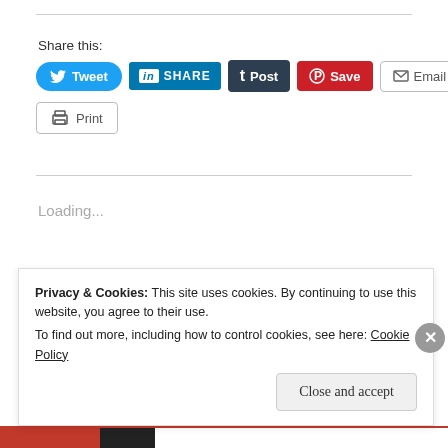Share this:
[Figure (infographic): Social share buttons: Tweet (Twitter, blue), SHARE (LinkedIn, blue), Post (Tumblr, dark), Save (Pinterest, red), Email (grey outline), Print (grey outline)]
Loading...
Helene Harrison / May 2, 2017 / Anne Boleyn, On This Day
Privacy & Cookies: This site uses cookies. By continuing to use this website, you agree to their use.
To find out more, including how to control cookies, see here: Cookie Policy
Close and accept